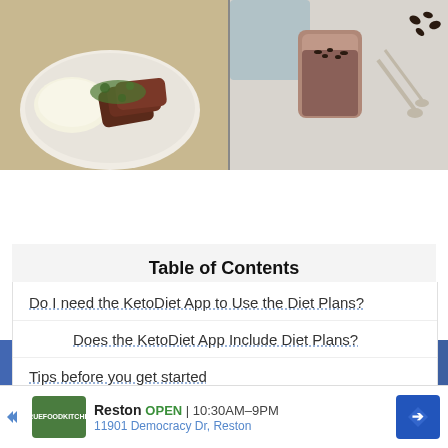[Figure (photo): Food photo collage: left side shows a plate with sliced steak and herb sauce with mashed potatoes; right side shows a chocolate smoothie in a glass with spoons and cocoa beans on a light background]
[Figure (screenshot): Facebook social widget bar showing 'facebook' branding, SHARE button, FOLLOW US button, and follower count of 261.1k on a blue background]
Table of Contents
Do I need the KetoDiet App to Use the Diet Plans?
Does the KetoDiet App Include Diet Plans?
Tips before you get started
2 Week Keto Diet Plan
[Figure (screenshot): Advertisement bar for True Food Kitchen in Reston. Shows logo, 'Reston OPEN 10:30AM-9PM', '11901 Democracy Dr, Reston', navigation arrow icon]